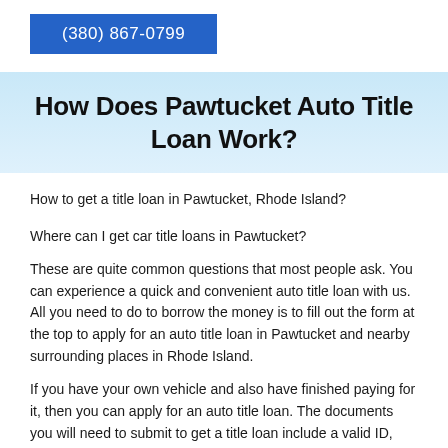(380) 867-0799
How Does Pawtucket Auto Title Loan Work?
How to get a title loan in Pawtucket, Rhode Island?
Where can I get car title loans in Pawtucket?
These are quite common questions that most people ask. You can experience a quick and convenient auto title loan with us. All you need to do to borrow the money is to fill out the form at the top to apply for an auto title loan in Pawtucket and nearby surrounding places in Rhode Island.
If you have your own vehicle and also have finished paying for it, then you can apply for an auto title loan. The documents you will need to submit to get a title loan include a valid ID, proof of